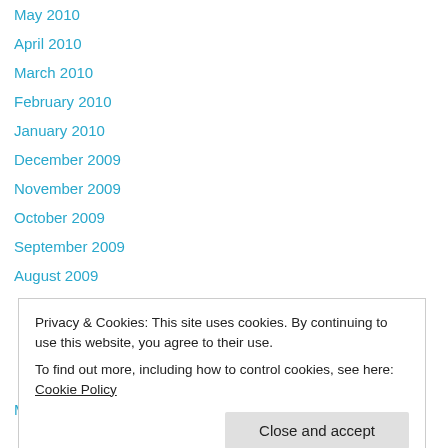May 2010
April 2010
March 2010
February 2010
January 2010
December 2009
November 2009
October 2009
September 2009
August 2009
J…
J…
M…
A…
March 2009
Privacy & Cookies: This site uses cookies. By continuing to use this website, you agree to their use.
To find out more, including how to control cookies, see here: Cookie Policy
Close and accept